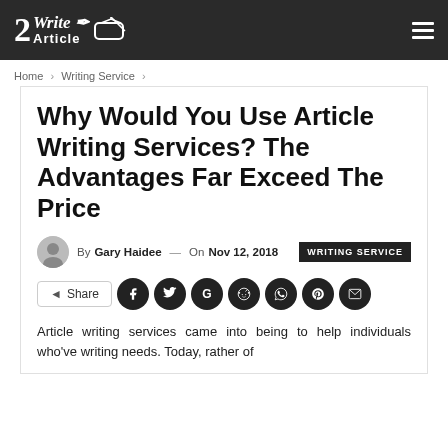2Write Article
Home > Writing Service >
Why Would You Use Article Writing Services? The Advantages Far Exceed The Price
By Gary Haidee — On Nov 12, 2018 WRITING SERVICE
Share
Article writing services came into being to help individuals who've writing needs. Today, rather of